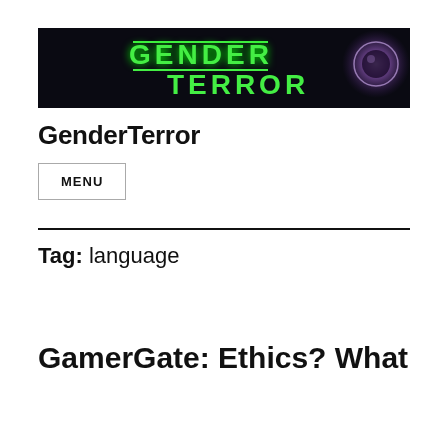[Figure (logo): GenderTerror website banner with green dripping text 'GENDER TERROR' on dark background with purple glowing orb on the right]
GenderTerror
MENU
Tag: language
GamerGate: Ethics? What